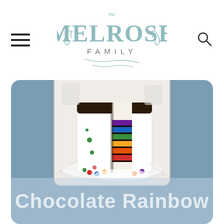The Melrose Family
[Figure (photo): A rainbow layer cake sliced open on a white plate, showing colorful layers and chocolate frosting, decorated with candy-coated chocolates. Set on a muted blue card background.]
Chocolate Rainbow